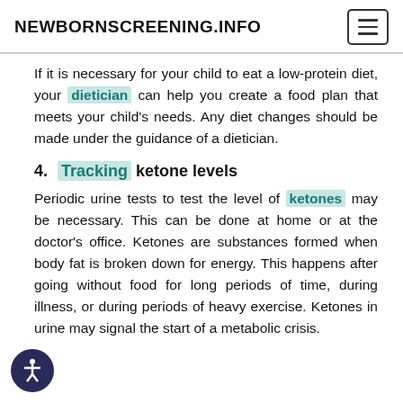NEWBORNSCREENING.INFO
If it is necessary for your child to eat a low-protein diet, your dietician can help you create a food plan that meets your child’s needs. Any diet changes should be made under the guidance of a dietician.
4. Tracking ketone levels
Periodic urine tests to test the level of ketones may be necessary. This can be done at home or at the doctor’s office. Ketones are substances formed when body fat is broken down for energy. This happens after going without food for long periods of time, during illness, or during periods of heavy exercise. Ketones in urine may signal the start of a metabolic crisis.